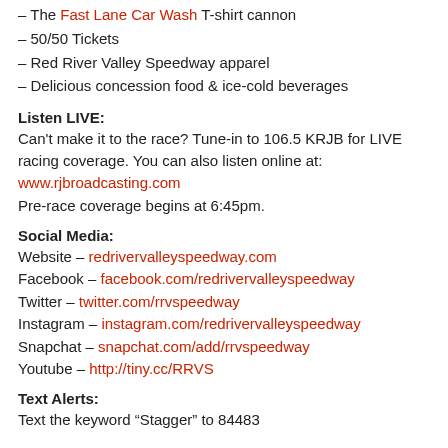– The Fast Lane Car Wash T-shirt cannon
– 50/50 Tickets
– Red River Valley Speedway apparel
– Delicious concession food & ice-cold beverages
Listen LIVE:
Can't make it to the race? Tune-in to 106.5 KRJB for LIVE racing coverage. You can also listen online at: www.rjbroadcasting.com
Pre-race coverage begins at 6:45pm.
Social Media:
Website – redrivervalleyspeedway.com
Facebook – facebook.com/redrivervalleyspeedway
Twitter – twitter.com/rrvspeedway
Instagram – instagram.com/redrivervalleyspeedway
Snapchat – snapchat.com/add/rrvspeedway
Youtube – http://tiny.cc/RRVS
Text Alerts:
Text the keyword “Stagger” to 84483